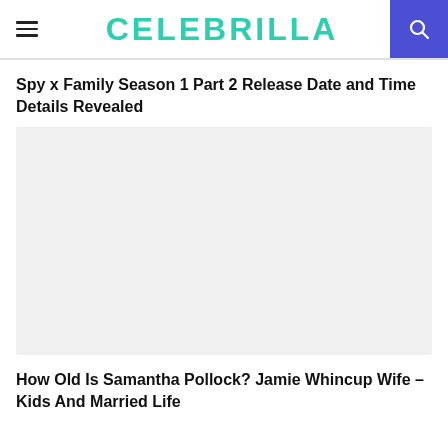CELEBRILLA
Spy x Family Season 1 Part 2 Release Date and Time Details Revealed
[Figure (photo): Article image placeholder for Spy x Family Season 1 Part 2 article — light gray rectangle]
How Old Is Samantha Pollock? Jamie Whincup Wife – Kids And Married Life